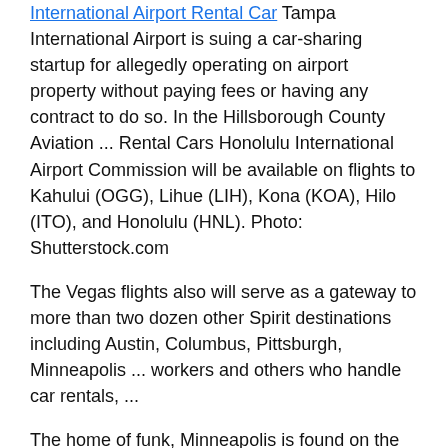International Airport Rental Car Tampa International Airport is suing a car-sharing startup for allegedly operating on airport property without paying fees or having any contract to do so. In the Hillsborough County Aviation ... Rental Cars Honolulu International Airport Commission will be available on flights to Kahului (OGG), Lihue (LIH), Kona (KOA), Hilo (ITO), and Honolulu (HNL). Photo: Shutterstock.com
The Vegas flights also will serve as a gateway to more than two dozen other Spirit destinations including Austin, Columbus, Pittsburgh, Minneapolis ... workers and others who handle car rentals, ...
The home of funk, Minneapolis is found on the banks of the Mississippi River, forming part of the 'Twin Cities' with nearby Saint Paul. Renting a car from its efficient airport is the easiest way to get around.
30 p.m. Provo Municipal Airport Depart Provo 9:00 a.m.